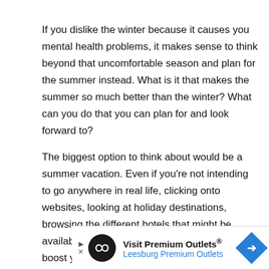If you dislike the winter because it causes you mental health problems, it makes sense to think beyond that uncomfortable season and plan for the summer instead. What is it that makes the summer so much better than the winter? What can you do that you can plan for and look forward to?
The biggest option to think about would be a summer vacation. Even if you're not intending to go anywhere in real life, clicking onto websites, looking at holiday destinations, browsing the different hotels that might be available, and even planning an itinerary can boost your mood significantly. What's even better is that you
[Figure (other): Advertisement banner for Visit Premium Outlets - Leesburg Premium Outlets, featuring a circular black logo with an infinity-like symbol, blue text with outlet name, and a blue diamond-shaped arrow icon.]